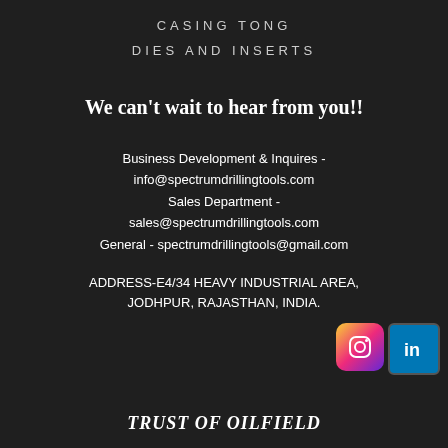CASING TONG
DIES AND INSERTS
We can't wait to hear from you!!
Business Development & Inquires - info@spectrumdrillingtools.com Sales Department - sales@spectrumdrillingtools.com General - spectrumdrillingtools@gmail.com
ADDRESS-E4/34 HEAVY INDUSTRIAL AREA, JODHPUR, RAJASTHAN, INDIA.
[Figure (logo): Instagram and LinkedIn social media icons]
TRUST OF OILFIELD